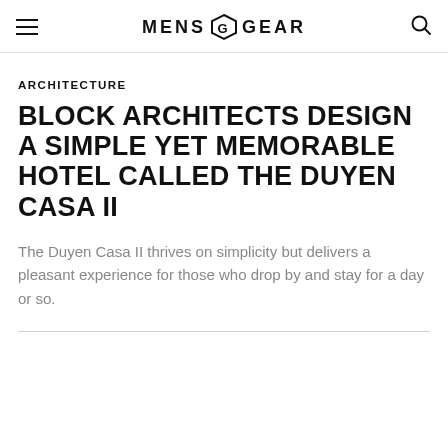MENS GEAR
ARCHITECTURE
BLOCK ARCHITECTS DESIGN A SIMPLE YET MEMORABLE HOTEL CALLED THE DUYEN CASA II
The Duyen Casa II thrives on simplicity but delivers a pleasant experience for those who drop by and stay for a day or so.